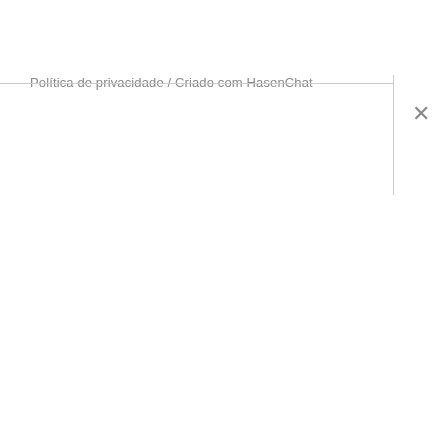Política de privacidade / Criado com HasenChat
[Figure (screenshot): Close button (×) in a dialog or modal header, positioned at the top-right corner with a vertical divider line separating it from the header text area.]